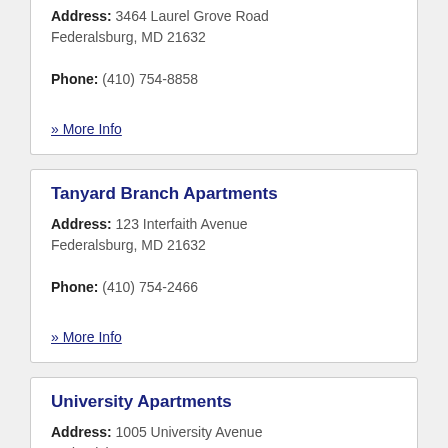Address: 3464 Laurel Grove Road Federalsburg, MD 21632
Phone: (410) 754-8858
» More Info
Tanyard Branch Apartments
Address: 123 Interfaith Avenue Federalsburg, MD 21632
Phone: (410) 754-2466
» More Info
University Apartments
Address: 1005 University Avenue Federalsburg, MD 21632